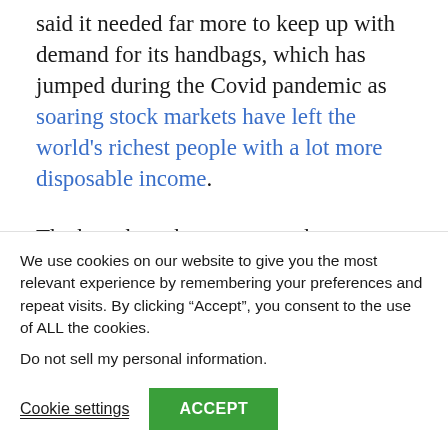said it needed far more to keep up with demand for its handbags, which has jumped during the Covid pandemic as soaring stock markets have left the world's richest people with a lot more disposable income.
The bags have become must-have collectibles for the super-rich and
We use cookies on our website to give you the most relevant experience by remembering your preferences and repeat visits. By clicking “Accept”, you consent to the use of ALL the cookies.
Do not sell my personal information.
Cookie settings
ACCEPT